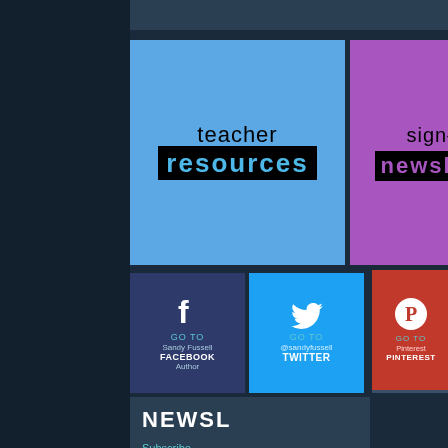[Figure (infographic): Windows 8 Metro-style tile layout showing teacher resources, sign-up newsletter, social media links (Facebook, Twitter, Instagram, Pinterest), and a newsletter subscription section on a dark blue background]
teacher resources
sign-up newsletter
GO TO Sandy Fussell FACEBOOK Author
GO TO @sandyfussell TWITTER
GO TO Instagram INSTAGRAM
GO TO Pinterest PINTEREST
NEWSL Subscribe to my monthly Writer Tech newsletter Go to Subscriber
Subscribe to my monthly Writer Tech newsletter